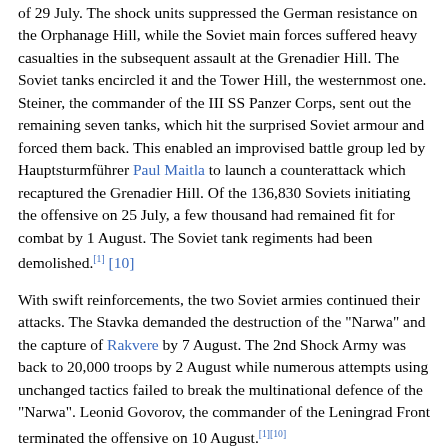of 29 July. The shock units suppressed the German resistance on the Orphanage Hill, while the Soviet main forces suffered heavy casualties in the subsequent assault at the Grenadier Hill. The Soviet tanks encircled it and the Tower Hill, the westernmost one. Steiner, the commander of the III SS Panzer Corps, sent out the remaining seven tanks, which hit the surprised Soviet armour and forced them back. This enabled an improvised battle group led by Hauptsturmführer Paul Maitla to launch a counterattack which recaptured the Grenadier Hill. Of the 136,830 Soviets initiating the offensive on 25 July, a few thousand had remained fit for combat by 1 August. The Soviet tank regiments had been demolished.[1][10]
With swift reinforcements, the two Soviet armies continued their attacks. The Stavka demanded the destruction of the "Narwa" and the capture of Rakvere by 7 August. The 2nd Shock Army was back to 20,000 troops by 2 August while numerous attempts using unchanged tactics failed to break the multinational defence of the "Narwa". Leonid Govorov, the commander of the Leningrad Front terminated the offensive on 10 August.[1][10]
Casualties
During the Soviet era, the losses in the battle of Narva were not